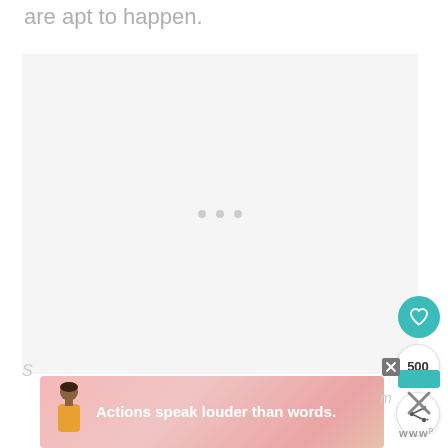are apt to happen.
[Figure (other): Large light gray placeholder box with three small gray dots in the center, representing an ad or embedded content loading area]
[Figure (other): Teal circular heart/favorite button on the right side]
[Figure (other): White circular badge showing count '500']
[Figure (other): White circular share button with share icon]
S
[Figure (other): Advertisement banner with pink gradient background showing a young man illustration and text 'Actions speak louder than words.']
[Figure (other): Teal rectangle close/dismiss button and X icon and small logo marks on the right side]
m